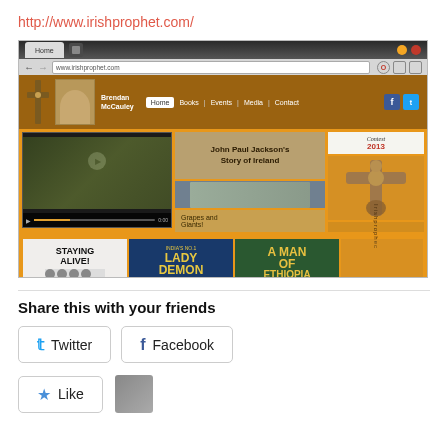http://www.irishprophet.com/
[Figure (screenshot): Screenshot of www.irishprophet.com website showing the homepage with Brendan McCauley, navigation, video of John Paul Jackson's Story of Ireland, book covers (Staying Alive!, Lady Demon Specialist, A Man of Ethiopia), and an Irish prophet cross statue image]
Share this with your friends
Twitter
Facebook
Like